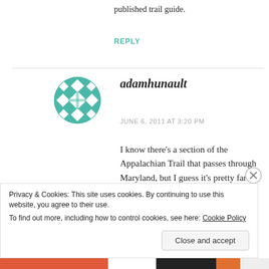published trail guide.
REPLY
[Figure (illustration): Green circular avatar with geometric diamond/cross pattern for user adamhunault]
adamhunault
JUNE 6, 2011 AT 3:20 PM
I know there’s a section of the Appalachian Trail that passes through Maryland, but I guess it’s pretty far from Baltimore…
Privacy & Cookies: This site uses cookies. By continuing to use this website, you agree to their use.
To find out more, including how to control cookies, see here: Cookie Policy
Close and accept